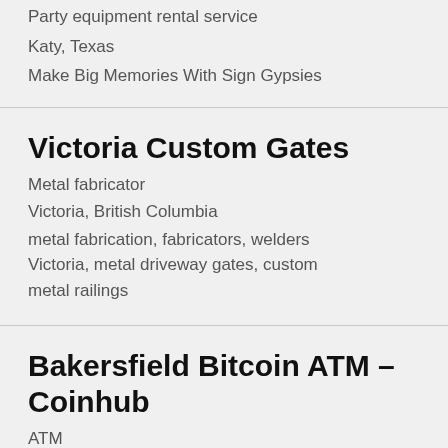Party equipment rental service
Katy, Texas
Make Big Memories With Sign Gypsies
Victoria Custom Gates
Metal fabricator
Victoria, British Columbia
metal fabrication, fabricators, welders
Victoria, metal driveway gates, custom metal railings
Bakersfield Bitcoin ATM – Coinhub
ATM